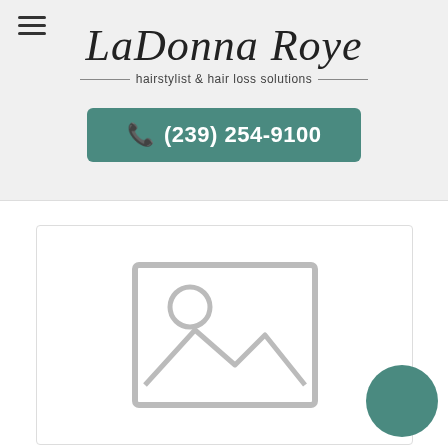Menu (hamburger icon)
LaDonna Roye
hairstylist & hair loss solutions
(239) 254-9100
[Figure (photo): Placeholder image with mountain/landscape icon in a bordered card frame]